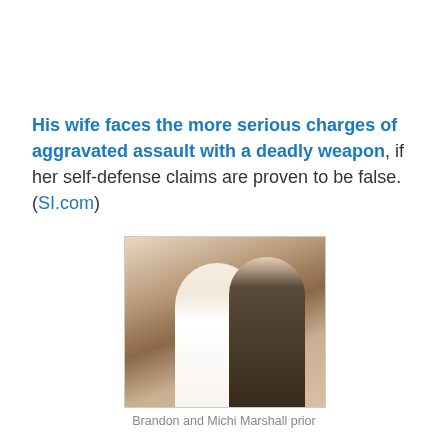His wife faces the more serious charges of aggravated assault with a deadly weapon, if her self-defense claims are proven to be false.(SI.com)
[Figure (photo): Wedding photo of Brandon and Michi Marshall, bride in white dress holding pink bouquet, groom in dark pinstripe suit with pink boutonniere]
Brandon and Michi Marshall prior